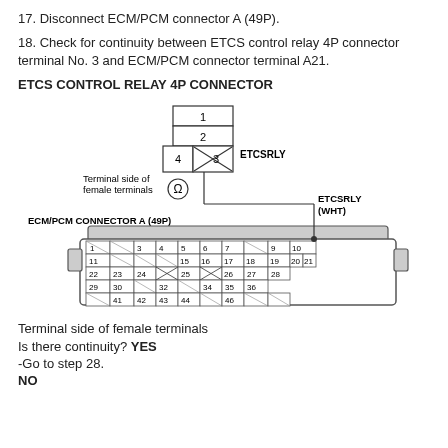17. Disconnect ECM/PCM connector A (49P).
18. Check for continuity between ETCS control relay 4P connector terminal No. 3 and ECM/PCM connector terminal A21.
ETCS CONTROL RELAY 4P CONNECTOR
[Figure (engineering-diagram): ETCS Control Relay 4P connector diagram showing terminals 1, 2, 3, 4 with X symbol between 4 and 3, labeled ETCSRLY, with omega symbol for terminal side of female terminals. Below, ECM/PCM CONNECTOR A (49P) labeled ETCSRLY (WHT) showing a 49-pin connector grid with terminal numbers 1,3,4,5,6,7,9,10,11,15,16,17,18,19,20,21,22,23,24,25,26,27,28,29,30,32,34,35,36,41,42,43,44,46 and diagonal lines indicating unused terminals.]
Terminal side of female terminals
Is there continuity? YES
-Go to step 28.
NO